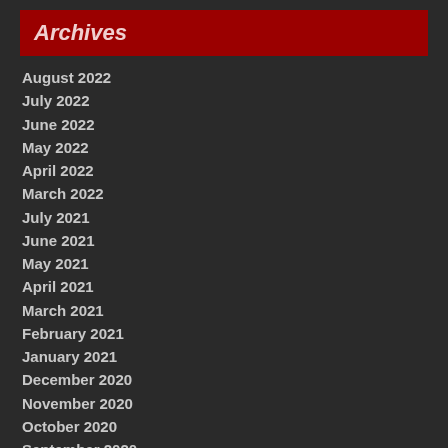Archives
August 2022
July 2022
June 2022
May 2022
April 2022
March 2022
July 2021
June 2021
May 2021
April 2021
March 2021
February 2021
January 2021
December 2020
November 2020
October 2020
September 2020
Categories